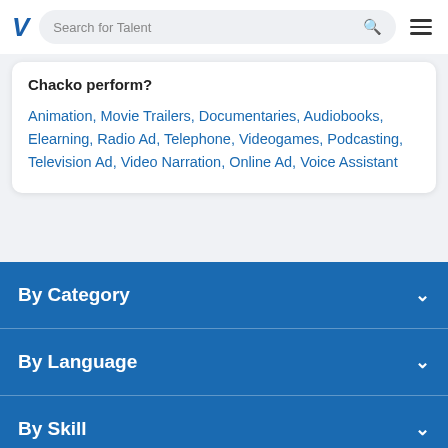Search for Talent
Chacko perform?
Animation, Movie Trailers, Documentaries, Audiobooks, Elearning, Radio Ad, Telephone, Videogames, Podcasting, Television Ad, Video Narration, Online Ad, Voice Assistant
By Category
By Language
By Skill